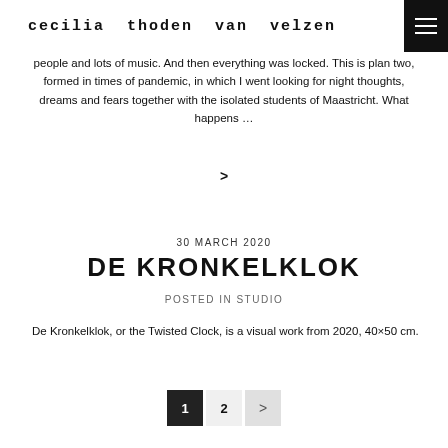cecilia thoden van velzen
people and lots of music. And then everything was locked. This is plan two, formed in times of pandemic, in which I went looking for night thoughts, dreams and fears together with the isolated students of Maastricht. What happens …
>
30 MARCH 2020
DE KRONKELKLOK
POSTED IN STUDIO
De Kronkelklok, or the Twisted Clock, is a visual work from 2020, 40×50 cm.
1 2 >